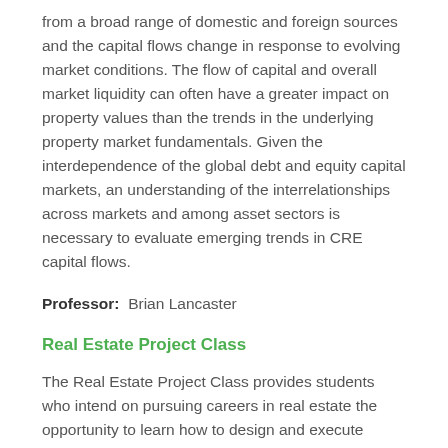from a broad range of domestic and foreign sources and the capital flows change in response to evolving market conditions. The flow of capital and overall market liquidity can often have a greater impact on property values than the trends in the underlying property market fundamentals. Given the interdependence of the global debt and equity capital markets, an understanding of the interrelationships across markets and among asset sectors is necessary to evaluate emerging trends in CRE capital flows.
Professor:  Brian Lancaster
Real Estate Project Class
The Real Estate Project Class provides students who intend on pursuing careers in real estate the opportunity to learn how to design and execute